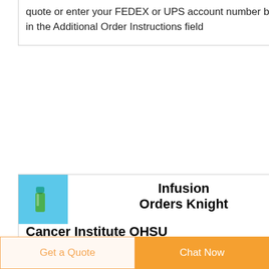quote or enter your FEDEX or UPS account number below in the Additional Order Instructions field
[Figure (photo): Small medical vial/tube on blue background]
Infusion Orders Knight Cancer Institute OHSU
Click on the desired infusion order to download and print the PDF Fill in all fields and sign infusion order request form with ink Fax the signed infusion order and face sheet to the clinic location
[Figure (other): Circular dark blue scroll-to-top button with white upward arrow]
Get a Quote
Chat Now